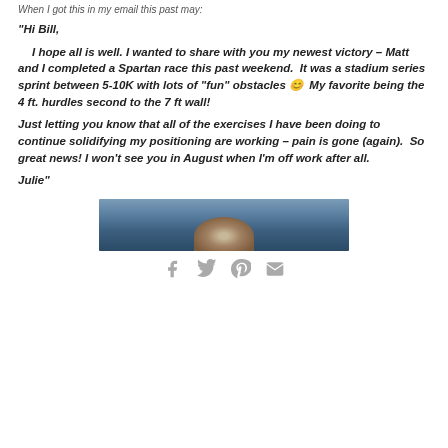When I got this in my email this past may:
“Hi Bill,

  I hope all is well. I wanted to share with you my newest victory – Matt and I completed a Spartan race this past weekend.  It was a stadium series sprint between 5-10K with lots of “fun” obstacles 😊  My favorite being the 4 ft. hurdles second to the 7 ft wall!

Just letting you know that all of the exercises I have been doing to continue solidifying my positioning are working – pain is gone (again).  So great news! I won’t see you in August when I’m off work after all.

Julie”
[Figure (photo): Partial photo of what appears to be a stadium or arena setting with a Spartan race medal or logo visible]
Social share icons: Facebook, Twitter, Pinterest, Email